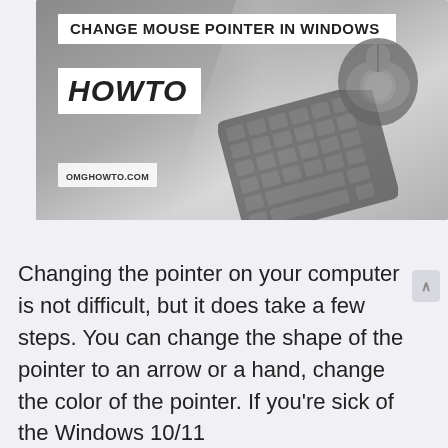[Figure (illustration): Banner image for a how-to article about changing mouse pointer in Windows. Shows a gray gradient background with a keyboard and trackball mouse visible. White box with bold uppercase text 'CHANGE MOUSE POINTER IN WINDOWS' at top, white box with bold italic 'HOWTO' logo below, and 'OMGHOWTO.COM' website label.]
Changing the pointer on your computer is not difficult, but it does take a few steps. You can change the shape of the pointer to an arrow or a hand, change the color of the pointer. If you’re sick of the Windows 10/11